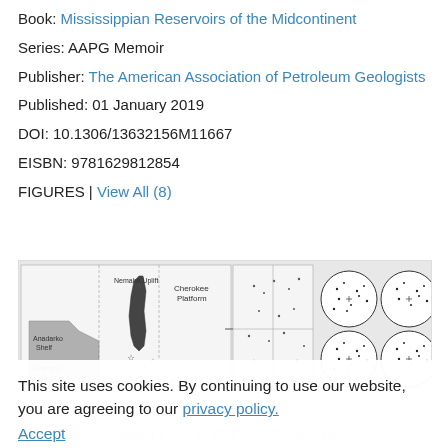Book: Mississippian Reservoirs of the Midcontinent
Series: AAPG Memoir
Publisher: The American Association of Petroleum Geologists
Published: 01 January 2019
DOI: 10.1306/13632156M11667
EISBN: 9781629812854
FIGURES | View All (8)
[Figure (map): Map of Midcontinent USA showing Nemaha Uplift, Cherokee Platform, Anadarko Shelf, Anadarko Basin, and surrounding states (CO, KS), with circular stereonet diagrams on the right side.]
This site uses cookies. By continuing to use our website, you are agreeing to our privacy policy. Accept